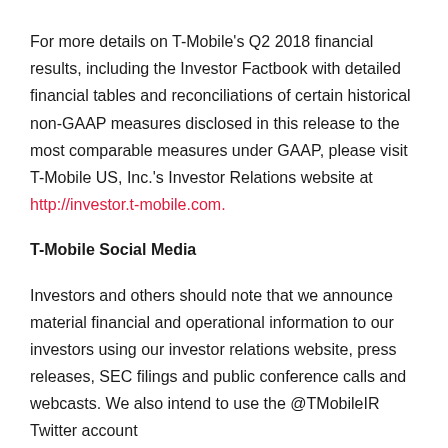For more details on T-Mobile's Q2 2018 financial results, including the Investor Factbook with detailed financial tables and reconciliations of certain historical non-GAAP measures disclosed in this release to the most comparable measures under GAAP, please visit T-Mobile US, Inc.'s Investor Relations website at http://investor.t-mobile.com.
T-Mobile Social Media
Investors and others should note that we announce material financial and operational information to our investors using our investor relations website, press releases, SEC filings and public conference calls and webcasts. We also intend to use the @TMobileIR Twitter account